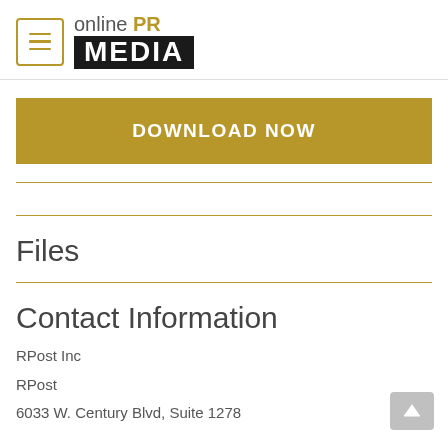[Figure (logo): Online PR Media logo with hamburger menu icon. Left: gold bordered square with three gold horizontal lines (menu). Right: 'online PR' text (PR in gold/bold) above black rectangle with white bold 'MEDIA' text.]
DOWNLOAD NOW
Files
Contact Information
RPost Inc
RPost
6033 W. Century Blvd, Suite 1278